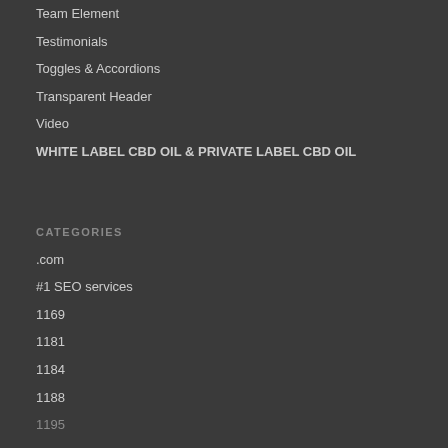Team Element
Testimonials
Toggles & Accordions
Transparent Header
Video
WHITE LABEL CBD OIL & PRIVATE LABEL CBD OIL
CATEGORIES
.com
#1 SEO services
1169
1181
1184
1188
1195